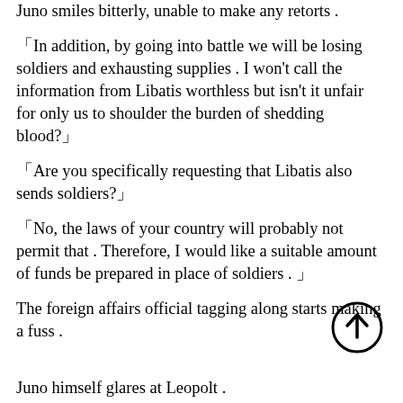Juno smiles bitterly, unable to make any retorts .
「In addition, by going into battle we will be losing soldiers and exhausting supplies . I won’t call the information from Libatis worthless but isn’t it unfair for only us to shoulder the burden of shedding blood?」
「Are you specifically requesting that Libatis also sends soldiers?」
「No, the laws of your country will probably not permit that . Therefore, I would like a suitable amount of funds be prepared in place of soldiers . 」
The foreign affairs official tagging along starts making a fuss .
Juno himself glares at Leopolt .